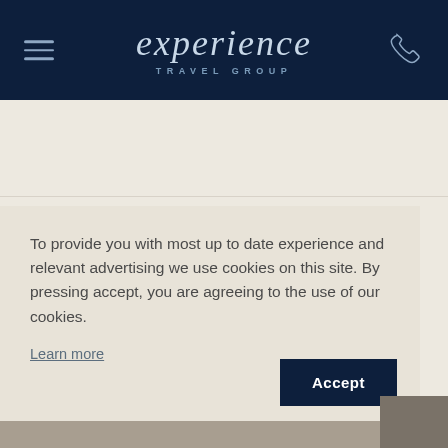experience TRAVEL GROUP
To provide you with most up to date experience and relevant advertising we use cookies on this site. By pressing accept, you are agreeing to the use of our cookies. Learn more
Accept